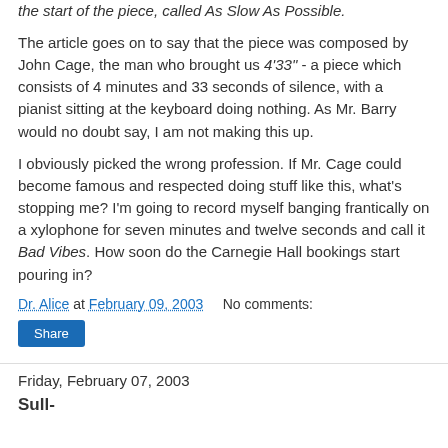the start of the piece, called As Slow As Possible.
The article goes on to say that the piece was composed by John Cage, the man who brought us 4'33" - a piece which consists of 4 minutes and 33 seconds of silence, with a pianist sitting at the keyboard doing nothing. As Mr. Barry would no doubt say, I am not making this up.
I obviously picked the wrong profession. If Mr. Cage could become famous and respected doing stuff like this, what's stopping me? I'm going to record myself banging frantically on a xylophone for seven minutes and twelve seconds and call it Bad Vibes. How soon do the Carnegie Hall bookings start pouring in?
Dr. Alice at February 09, 2003    No comments:
Share
Friday, February 07, 2003
Sull-